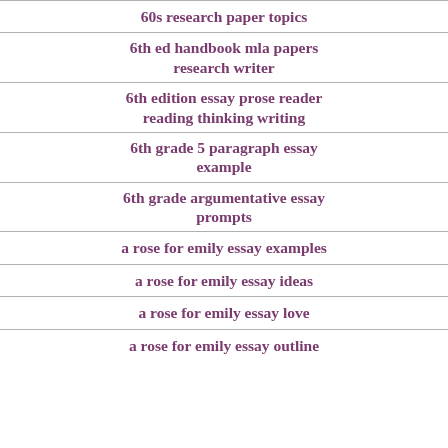60s research paper topics
6th ed handbook mla papers research writer
6th edition essay prose reader reading thinking writing
6th grade 5 paragraph essay example
6th grade argumentative essay prompts
a rose for emily essay examples
a rose for emily essay ideas
a rose for emily essay love
a rose for emily essay outline